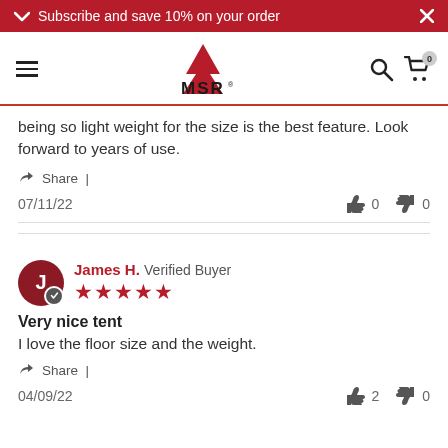Subscribe and save 10% on your order
[Figure (logo): MSR (Mountain Safety Research) brand logo with red mountain peak graphic above bold MSR text]
being so light weight for the size is the best feature. Look forward to years of use.
Share |
07/11/22   👍 0   👎 0
James H. Verified Buyer ★★★★★
Very nice tent
I love the floor size and the weight.
Share |
04/09/22   👍 2   👎 0